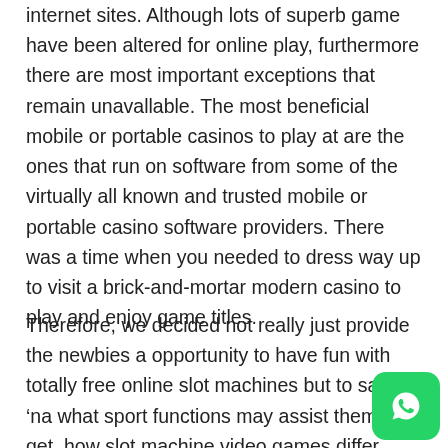internet sites. Although lots of superb game have been altered for online play, furthermore there are most important exceptions that remain unavallable. The most beneficial mobile or portable casinos to play at are the ones that run on software from some of the virtually all known and trusted mobile or portable casino software providers. There was a time when you needed to dress way up to visit a brick-and-mortar modern casino to play and enjoy game titles.
Therefore, we decided not really just provide the newbies a opportunity to have fun with totally free online slot machines but to say to 'na what sport functions may assist them to get, how slot machine video games differ from each and every some other, and many even more extras. Unavallability to have some of 'œout of date but magic activities on cell phone. It has not been outside of any special have a passion for for the activity... Sandholm